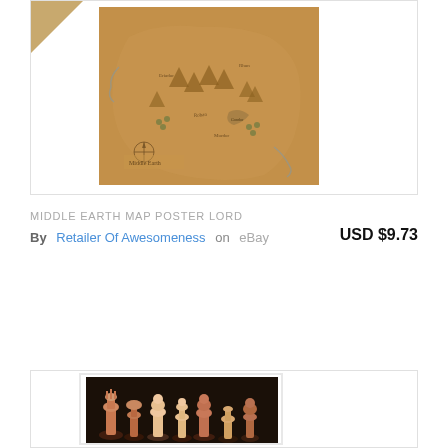[Figure (photo): Middle Earth map poster photo with antique/vintage appearance on brown parchment background, showing illustrated fantasy map with mountains, forests, and place names. Displayed within a white product card with a small triangular badge in top-left corner.]
MIDDLE EARTH MAP POSTER LORD
By Retailer Of Awesomeness on eBay
USD $9.73
[Figure (photo): Chess pieces photo showing decorative chess set figurines on a dark background, partially visible at the bottom of the page within a product card frame.]